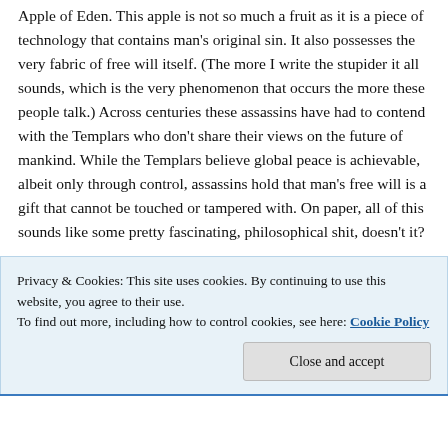Apple of Eden. This apple is not so much a fruit as it is a piece of technology that contains man's original sin. It also possesses the very fabric of free will itself. (The more I write the stupider it all sounds, which is the very phenomenon that occurs the more these people talk.) Across centuries these assassins have had to contend with the Templars who don't share their views on the future of mankind. While the Templars believe global peace is achievable, albeit only through control, assassins hold that man's free will is a gift that cannot be touched or tampered with. On paper, all of this sounds like some pretty fascinating, philosophical shit, doesn't it?
Privacy & Cookies: This site uses cookies. By continuing to use this website, you agree to their use.
To find out more, including how to control cookies, see here: Cookie Policy
Close and accept